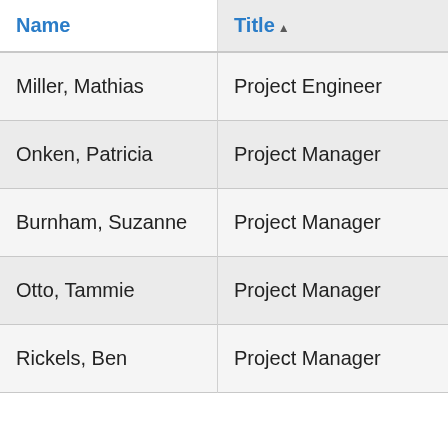| Name | Title ▲ | Contact | Unit |
| --- | --- | --- | --- |
| Miller, Mathias | Project Engineer |  |  |
| Onken, Patricia | Project Manager |  |  |
| Burnham, Suzanne | Project Manager |  |  |
| Otto, Tammie | Project Manager |  |  |
| Rickels, Ben | Project Manager |  |  |